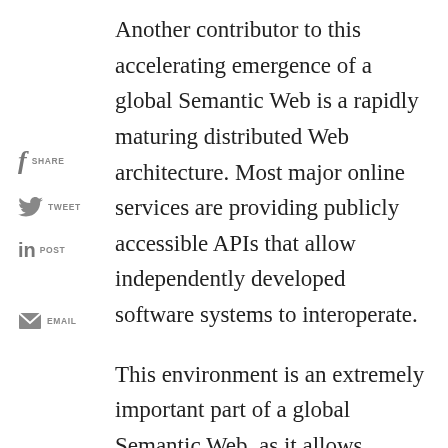Another contributor to this accelerating emergence of a global Semantic Web is a rapidly maturing distributed Web architecture. Most major online services are providing publicly accessible APIs that allow independently developed software systems to interoperate.
This environment is an extremely important part of a global Semantic Web, as it allows semantic technologies to cooperate on very large problems instead of tackling them independently. Creating rich